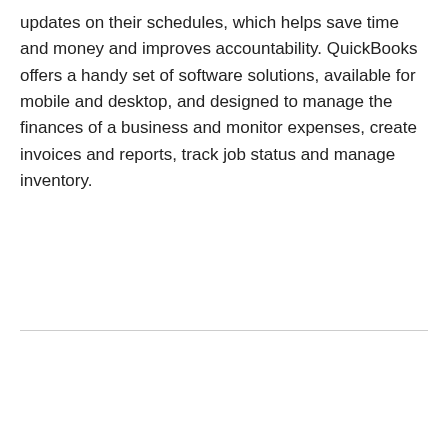updates on their schedules, which helps save time and money and improves accountability. QuickBooks offers a handy set of software solutions, available for mobile and desktop, and designed to manage the finances of a business and monitor expenses, create invoices and reports, track job status and manage inventory.
[Figure (other): Social sharing bar with Facebook Like button (Like 0) and social media share buttons for Facebook, Twitter, Pinterest, WhatsApp, and LinkedIn]